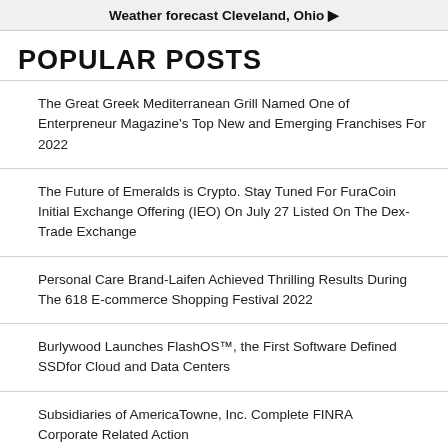Weather forecast Cleveland, Ohio ▶
POPULAR POSTS
The Great Greek Mediterranean Grill Named One of Enterpreneur Magazine's Top New and Emerging Franchises For 2022
The Future of Emeralds is Crypto. Stay Tuned For FuraCoin Initial Exchange Offering (IEO) On July 27 Listed On The Dex-Trade Exchange
Personal Care Brand-Laifen Achieved Thrilling Results During The 618 E-commerce Shopping Festival 2022
Burlywood Launches FlashOS™, the First Software Defined SSDfor Cloud and Data Centers
Subsidiaries of AmericaTowne, Inc. Complete FINRA Corporate Related Action